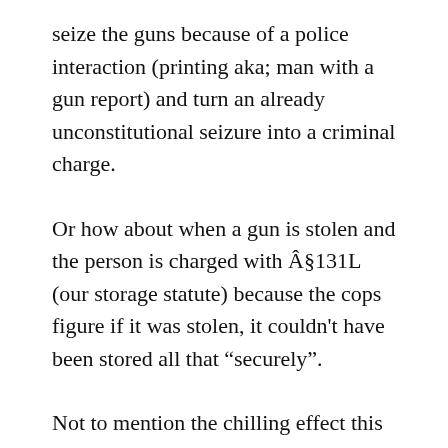seize the guns because of a police interaction (printing aka; man with a gun report) and turn an already unconstitutional seizure into a criminal charge.
Or how about when a gun is stolen and the person is charged with §131L (our storage statute) because the cops figure if it was stolen, it couldn't have been stored all that “securely”.
Not to mention the chilling effect this law has on those who forgo an operative firearm for fear of prosecution.